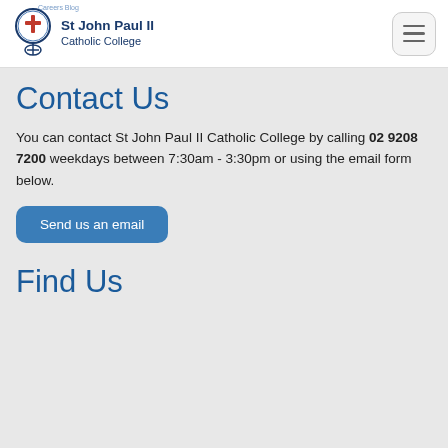St John Paul II Catholic College
Contact Us
You can contact St John Paul II Catholic College by calling 02 9208 7200 weekdays between 7:30am - 3:30pm or using the email form below.
Send us an email
Find Us